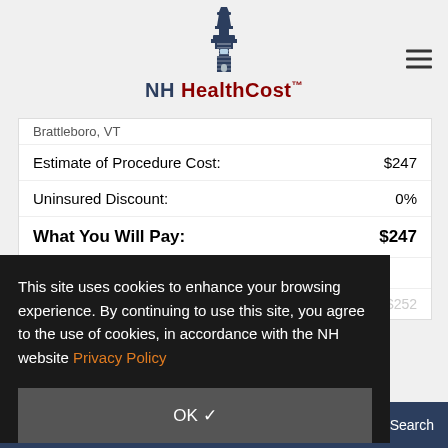[Figure (logo): NH HealthCost lighthouse logo with text]
Brattleboro, VT
| Estimate of Procedure Cost: | $247 |
| Uninsured Discount: | 0% |
| What You Will Pay: | $247 |
This site uses cookies to enhance your browsing experience. By continuing to use this site, you agree to the use of cookies, in accordance with the NH website Privacy Policy
OK ✓
Estimate of Procedure Cost:
$252
(5) COMPARE SELECTED   Search